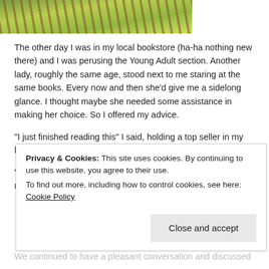[Figure (photo): Partial photo of what appears to be a wooden fence or bench with green foliage/leaves in the background, cropped at the top of the page.]
The other day I was in my local bookstore (ha-ha nothing new there) and I was perusing the Young Adult section. Another lady, roughly the same age, stood next to me staring at the same books. Every now and then she’d give me a sidelong glance. I thought maybe she needed some assistance in making her choice. So I offered my advice.
“I just finished reading this” I said, holding a top seller in my hand.
“It’s a really great story if you’re looking for something new to read” I offered.
Privacy & Cookies: This site uses cookies. By continuing to use this website, you agree to their use.
To find out more, including how to control cookies, see here: Cookie Policy
We continued to have a pleasant conversation and discussed what